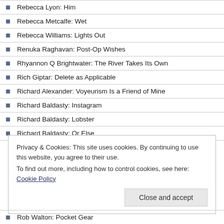Rebecca Lyon: Him
Rebecca Metcalfe: Wet
Rebecca Williams: Lights Out
Renuka Raghavan: Post-Op Wishes
Rhyannon Q Brightwater: The River Takes Its Own
Rich Giptar: Delete as Applicable
Richard Alexander: Voyeurism Is a Friend of Mine
Richard Baldasty: Instagram
Richard Baldasty: Lobster
Richard Baldasty: Or Else
Privacy & Cookies: This site uses cookies. By continuing to use this website, you agree to their use.
To find out more, including how to control cookies, see here: Cookie Policy
Rob Walton: Pocket Gear